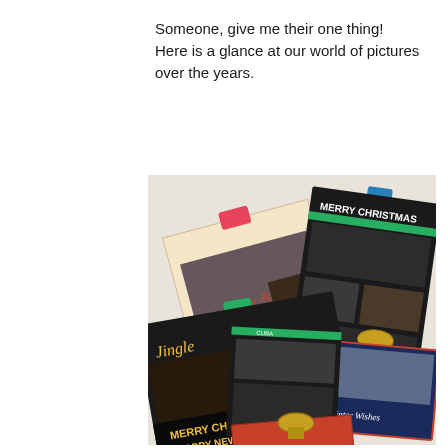Someone, give me their one thing! Here is a glance at our world of pictures over the years.
[Figure (photo): A collection of Christmas/holiday greeting cards clipped with binder clips to a white surface. Cards include 'Merry & Bright', 'MERRY CHRISTMAS', 'Jingle', 'MERRY CHRISTMAS HAPPY NEW YEAR', and 'Winter Wishes' cards with family photos.]